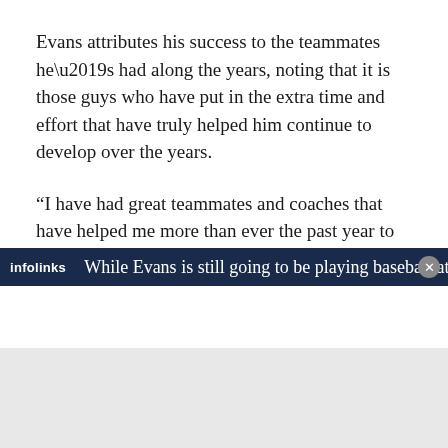Evans attributes his success to the teammates he’s had along the years, noting that it is those guys who have put in the extra time and effort that have truly helped him continue to develop over the years.
“I have had great teammates and coaches that have helped me more than ever the past year to improve my game,” Evans said. “Stewart Ijames, former Owensboro Catholic star, worked countless hours with me to improve my swing. Luke Scales and I worked out and hit together almost every day during the offseason.”
While Evans is still going to be playing baseball at home this